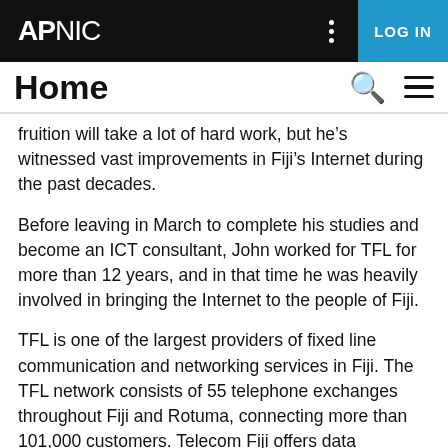APNIC | LOG IN
Home
fruition will take a lot of hard work, but he’s witnessed vast improvements in Fiji’s Internet during the past decades.
Before leaving in March to complete his studies and become an ICT consultant, John worked for TFL for more than 12 years, and in that time he was heavily involved in bringing the Internet to the people of Fiji.
TFL is one of the largest providers of fixed line communication and networking services in Fiji. The TFL network consists of 55 telephone exchanges throughout Fiji and Rotuma, connecting more than 101,000 customers. Telecom Fiji offers data networking solutions, managed services, co-location, business solutions and internet…